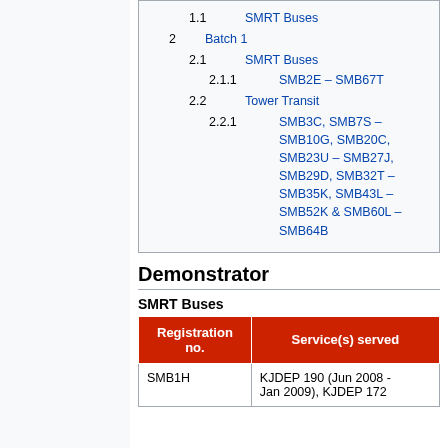1.1 SMRT Buses
2 Batch 1
2.1 SMRT Buses
2.1.1 SMB2E – SMB67T
2.2 Tower Transit
2.2.1 SMB3C, SMB7S – SMB10G, SMB20C, SMB23U – SMB27J, SMB29D, SMB32T – SMB35K, SMB43L – SMB52K & SMB60L – SMB64B
Demonstrator
SMRT Buses
| Registration no. | Service(s) served |
| --- | --- |
| SMB1H | KJDEP 190 (Jun 2008 - Jan 2009), KJDEP 172 |